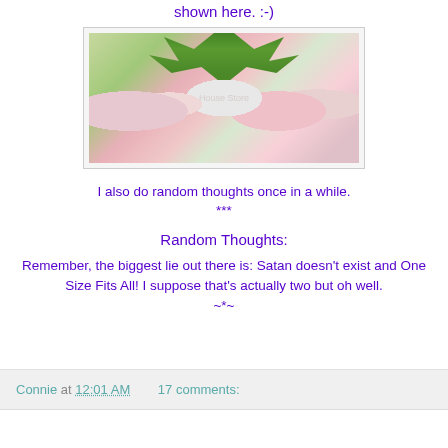shown here. :-)
[Figure (photo): Shelf with decorative items including glass bottles, figurines, flowers, and a fern plant on top]
I also do random thoughts once in a while.
***
Random Thoughts:
Remember, the biggest lie out there is: Satan doesn't exist and One Size Fits All! I suppose that's actually two but oh well.
~*~
Connie at 12:01 AM   17 comments: